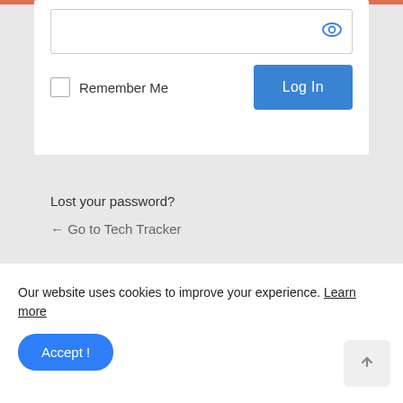[Figure (screenshot): Password input field with eye icon to toggle visibility]
Remember Me
[Figure (screenshot): Log In button (blue)]
Lost your password?
← Go to Tech Tracker
Our website uses cookies to improve your experience. Learn more
[Figure (screenshot): Accept! button (blue rounded) and scroll-to-top arrow button]